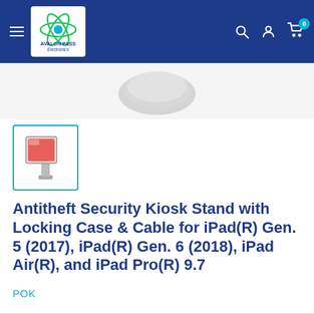[Figure (screenshot): E-commerce website header/navbar with hamburger menu, Avalon Pass Electronics logo, search icon, account icon, and cart icon with badge showing 0]
[Figure (photo): Partial view of a silver/grey antitheft kiosk stand product at top of page]
[Figure (photo): Thumbnail image of Antitheft Security Kiosk Stand product with teal border]
Antitheft Security Kiosk Stand with Locking Case & Cable for iPad(R) Gen. 5 (2017), iPad(R) Gen. 6 (2018), iPad Air(R), and iPad Pro(R) 9.7
POK